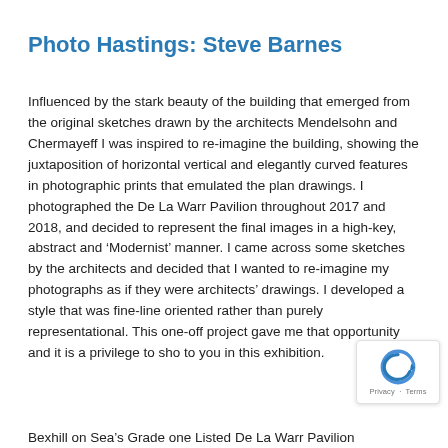Photo Hastings: Steve Barnes
Influenced by the stark beauty of the building that emerged from the original sketches drawn by the architects Mendelsohn and Chermayeff I was inspired to re-imagine the building, showing the juxtaposition of horizontal vertical and elegantly curved features in photographic prints that emulated the plan drawings. I photographed the De La Warr Pavilion throughout 2017 and 2018, and decided to represent the final images in a high-key, abstract and ‘Modernist’ manner. I came across some sketches by the architects and decided that I wanted to re-imagine my photographs as if they were architects’ drawings. I developed a style that was fine-line oriented rather than purely representational. This one-off project gave me that opportunity and it is a privilege to show to you in this exhibition.
Bexhill on Sea’s Grade one Listed De La Warr Pavilion